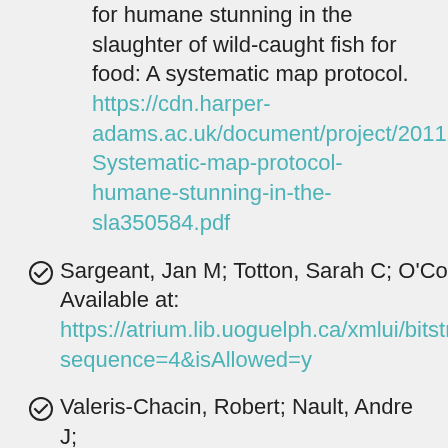for humane stunning in the slaughter of wild-caught fish for food: A systematic map protocol. https://cdn.harper-adams.ac.uk/document/project/201124-Systematic-map-protocol-humane-stunning-in-the-sla350584.pdf
Sargeant, Jan M; Totton, Sarah C; O'Connor, Annette M. (2020) Salmonella in animal feeds A scoping review protocol. Available at: https://atrium.lib.uoguelph.ca/xmlui/bitstream/handle/10214/21331/Salmonella_in_feed_Scoping_Review_Protocol.pdf?sequence=4&isAllowed=y
Valeris-Chacin, Robert; Nault, Andre J;